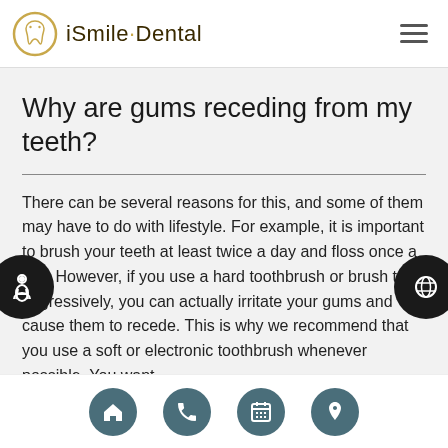iSmile·Dental
Why are gums receding from my teeth?
There can be several reasons for this, and some of them may have to do with lifestyle. For example, it is important to brush your teeth at least twice a day and floss once a day. However, if you use a hard toothbrush or brush too aggressively, you can actually irritate your gums and cause them to recede. This is why we recommend that you use a soft or electronic toothbrush whenever possible. You want
Navigation: Home, Phone, Calendar, Location